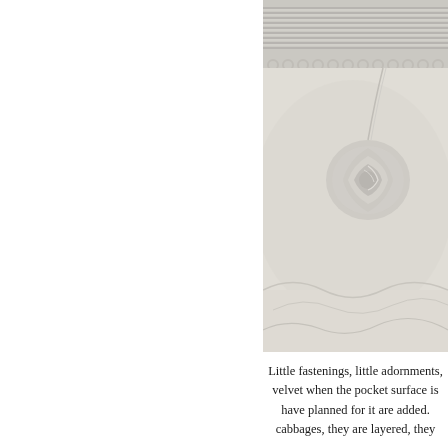[Figure (photo): Close-up photograph of a fabric rose or flower embellishment made from coiled/looped white and light gray cord or ribbon, resting on soft white fabric. The top portion shows tightly coiled spiral cord trim along the top edge.]
Little fastenings, little adornments, velvet when the pocket surface is have planned for it are added. cabbages, they are layered, they